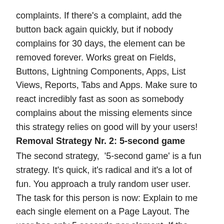complaints. If there's a complaint, add the button back again quickly, but if nobody complains for 30 days, the element can be removed forever. Works great on Fields, Buttons, Lightning Components, Apps, List Views, Reports, Tabs and Apps. Make sure to react incredibly fast as soon as somebody complains about the missing elements since this strategy relies on good will by your users!
Removal Strategy Nr. 2: 5-second game
The second strategy,  '5-second game' is a fun strategy. It's quick, it's radical and it's a lot of fun. You approach a truly random user user. The task for this person is now: Explain to me each single element on a Page Layout. The user has only 5 seconds per element. If the user can't explain the element in 5 seconds, the element is put on the elimination list. More about that topic in a with